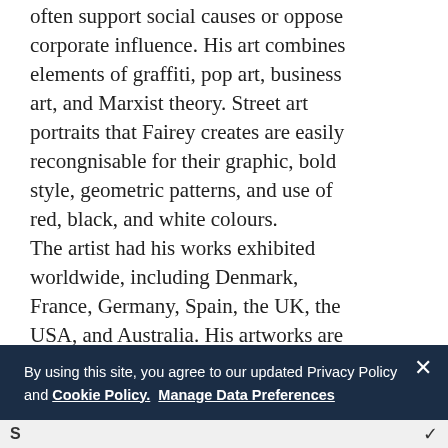often support social causes or oppose corporate influence. His art combines elements of graffiti, pop art, business art, and Marxist theory. Street art portraits that Fairey creates are easily recongnisable for their graphic, bold style, geometric patterns, and use of red, black, and white colours.
The artist had his works exhibited worldwide, including Denmark, France, Germany, Spain, the UK, the USA, and Australia. His artworks are housed in some of the most important collections worldwide, including the MoMA in New York, National Portrait Gallery in Washington, and the Victoria and Albert Museum in London.
Follow Us
[Figure (illustration): Row of social media icons: Twitter/X, Facebook, Instagram, YouTube, and another icon, partially visible]
By using this site, you agree to our updated Privacy Policy and Cookie Policy. Manage Data Preferences